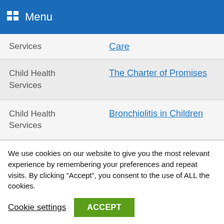Menu
| Category | Link |
| --- | --- |
| Services | Care |
| Child Health Services | The Charter of Promises |
| Child Health Services | Bronchiolitis in Children |
| Child Health Services | Serial Casting - Paediatric Physiotherapy |
We use cookies on our website to give you the most relevant experience by remembering your preferences and repeat visits. By clicking “Accept”, you consent to the use of ALL the cookies.
Cookie settings
ACCEPT